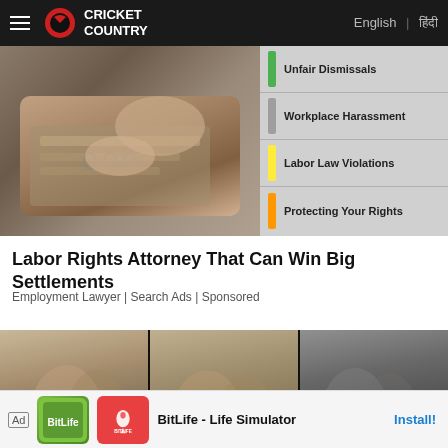Cricket Country | English | हिंदी
[Figure (infographic): Advertisement banner showing hands with documents on left, and a panel on the right listing: Unfair Dismissals, Workplace Harassment, Labor Law Violations, Protecting Your Rights]
Labor Rights Attorney That Can Win Big Settlements
Employment Lawyer | Search Ads | Sponsored
[Figure (photo): Three side-by-side video thumbnail panels showing a couple scene, with a red play button overlay on the center panel]
[Figure (infographic): Bottom ad bar: BitLife - Life Simulator app advertisement with Install button]